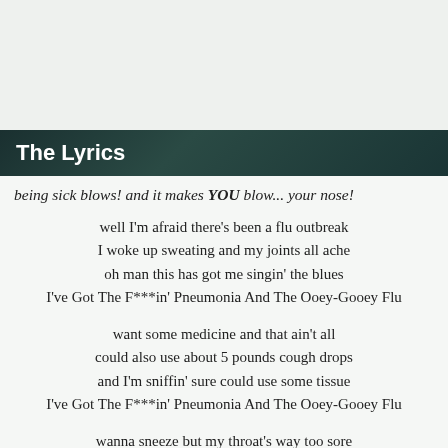The Lyrics
being sick blows! and it makes YOU blow... your nose!
well I'm afraid there's been a flu outbreak
I woke up sweating and my joints all ache
oh man this has got me singin' the blues
I've Got The F***in' Pneumonia And The Ooey-Gooey Flu
want some medicine and that ain't all
could also use about 5 pounds cough drops
and I'm sniffin' sure could use some tissue
I've Got The F***in' Pneumonia And The Ooey-Gooey Flu
wanna sneeze but my throat's way too sore
my nose be runnin' I can't take no more
oh man I could go for some chicken soup